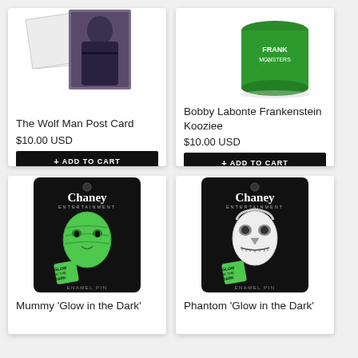[Figure (photo): The Wolf Man Post Card product image showing a photo/postcard with a wolf man character]
The Wolf Man Post Card
$10.00 USD
+ ADD TO CART
[Figure (photo): Bobby Labonte Frankenstein Kooziee product image showing a green Frankenstein Monsters koozie/can holder]
Bobby Labonte Frankenstein Kooziee
$10.00 USD
+ ADD TO CART
[Figure (photo): Mummy Glow in the Dark enamel pin on Chaney Entertainment black card with green mummy face illustration and glow in the dark badge]
Mummy 'Glow in the Dark'
[Figure (photo): Phantom Glow in the Dark enamel pin on Chaney Entertainment black card with black and white phantom face illustration and glow in the dark badge]
Phantom 'Glow in the Dark'